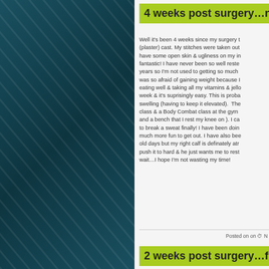4 weeks post surgery…n
Well it's been 4 weeks since my surgery t (plaster) cast. My stitches were taken out have some open skin & ugliness on my in fantastic! I have never been so well reste years so I'm not used to getting so much was so afraid of gaining weight because I eating well & taking all my vitamins & jell week & it's suprisingly easy. This is prob swelling (having to keep it elevated). The class & a Body Combat class at the gym and a bench that I rest my knee on ). I ca to break a sweat finally! I have been doin much more fun to get out. I have also bee old days but my right calf is definately atr push it to hard & he just wants me to rest wait…I hope I'm not wasting my time!
Posted on on
2 weeks post surgery…fi